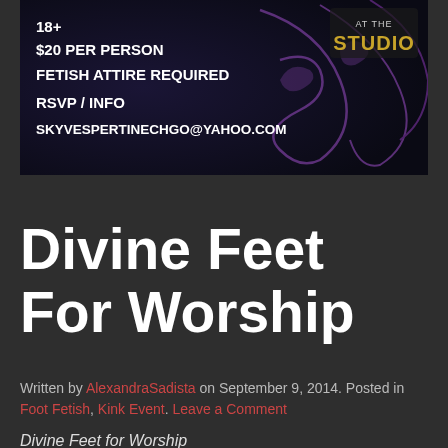[Figure (infographic): Dark banner advertisement with purple floral/swirl decorations, 'AT THE STUDIO' logo top right, text listing event details: 18+, $20 per person, fetish attire required, RSVP/info email]
Divine Feet For Worship
Written by AlexandraSadista on September 9, 2014. Posted in Foot Fetish, Kink Event. Leave a Comment
Divine Feet for Worship